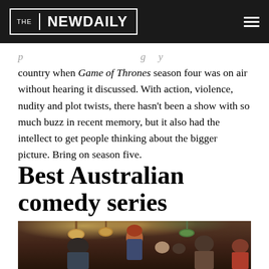THE NEW DAILY
country when Game of Thrones season four was on air without hearing it discussed. With action, violence, nudity and plot twists, there hasn't been a show with so much buzz in recent memory, but it also had the intellect to get people thinking about the bigger picture. Bring on season five.
Best Australian comedy series
[Figure (photo): A group of young people in a bar setting. A red-haired young man in a patterned shirt stands in the center looking at the camera, surrounded by other people in a warmly lit pub interior with hanging lamps.]